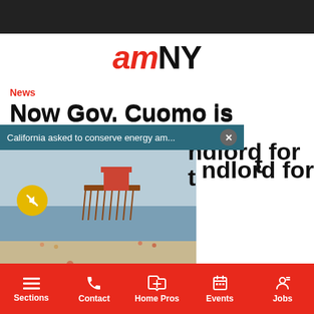[Figure (logo): amNY logo with 'am' in red italic and 'NY' in black bold]
News
Now Gov. Cuomo is battling his landlord for t
[Figure (photo): Beach scene with pier, sandy shore, ocean, and people on beach. A surfer visible in foreground.]
California asked to conserve energy am...
Posted on August 28, 2014
Sections  Contact  Home Pros  Events  Jobs